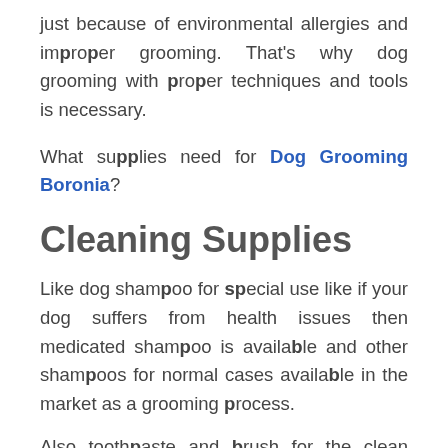just because of environmental allergies and improper grooming. That's why dog grooming with proper techniques and tools is necessary.
What supplies need for Dog Grooming Boronia?
Cleaning Supplies
Like dog shampoo for special use like if your dog suffers from health issues then medicated shampoo is available and other shampoos for normal cases available in the market as a grooming process.
Also toothpaste and brush for the clean teeth. And please keep in mind that whichever the